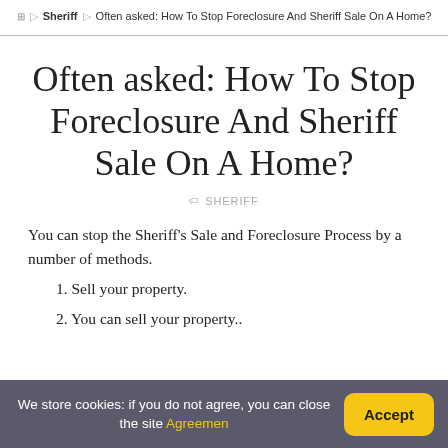🏠 ▷ Sheriff ▷ Often asked: How To Stop Foreclosure And Sheriff Sale On A Home?
Often asked: How To Stop Foreclosure And Sheriff Sale On A Home?
🏷 SHERIFF
You can stop the Sheriff's Sale and Foreclosure Process by a number of methods.
1. Sell your property.
2. You can sell your property..
We store cookies: if you do not agree, you can close the site Agreemen